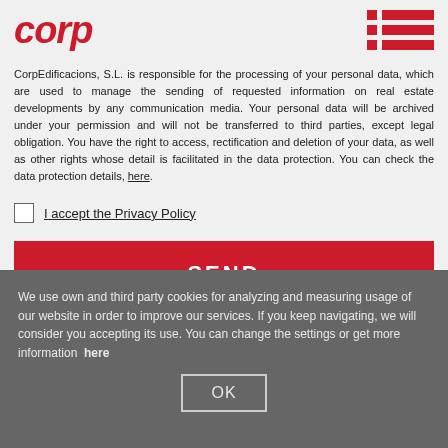[Figure (logo): Corp logo in red italic bold text]
CorpEdificacions, S.L. is responsible for the processing of your personal data, which are used to manage the sending of requested information on real estate developments by any communication media. Your personal data will be archived under your permission and will not be transferred to third parties, except legal obligation. You have the right to access, rectification and deletion of your data, as well as other rights whose detail is facilitated in the data protection. You can check the data protection details, here.
I accept the Privacy Policy
SEND
We use own and third party cookies for analyzing and measuring usage of our website in order to improve our services. If you keep navigating, we will consider you accepting its use. You can change the settings or get more information  here
OK